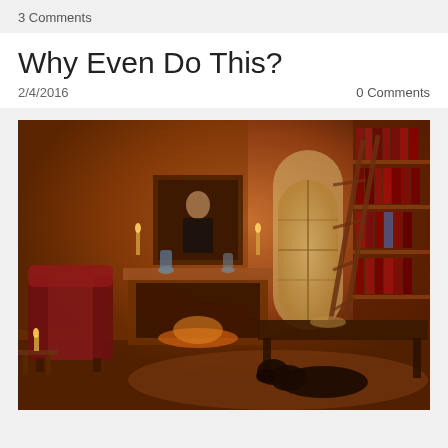3 Comments
Why Even Do This?
2/4/2016
0 Comments
[Figure (photo): Interior of a grand library or study with warm wood paneling, a fireplace with a portrait above it, candle sconces, an arched window, floor-to-ceiling bookshelves with a rolling ladder, a large wooden desk, a red leather wingback chair, and a dark dog lying on the floor.]